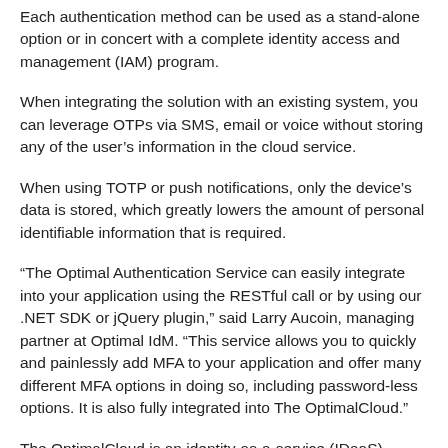Each authentication method can be used as a stand-alone option or in concert with a complete identity access and management (IAM) program.
When integrating the solution with an existing system, you can leverage OTPs via SMS, email or voice without storing any of the user’s information in the cloud service.
When using TOTP or push notifications, only the device’s data is stored, which greatly lowers the amount of personal identifiable information that is required.
“The Optimal Authentication Service can easily integrate into your application using the RESTful call or by using our .NET SDK or jQuery plugin,” said Larry Aucoin, managing partner at Optimal IdM. “This service allows you to quickly and painlessly add MFA to your application and offer many different MFA options in doing so, including password-less options. It is also fully integrated into The OptimalCloud.”
The OptimalCloud is an identity-as-a-service (IDaaS) solution with delegated administration and workflow capabilities that can be customized to meet the specific needs of customers.